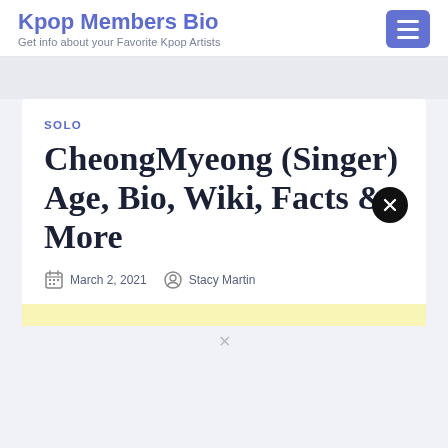Kpop Members Bio
Get info about your Favorite Kpop Artists
SOLO
CheongMyeong (Singer) Age, Bio, Wiki, Facts & More
March 2, 2021   Stacy Martin